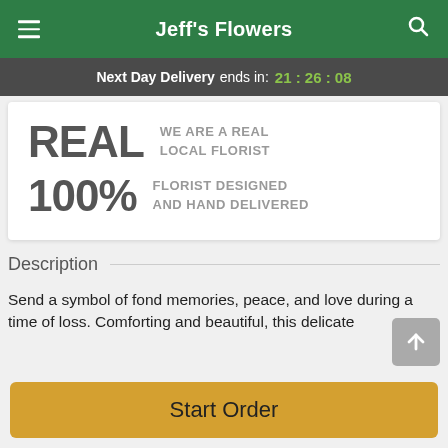Jeff's Flowers
Next Day Delivery ends in: 21:26:08
[Figure (infographic): Promotional card showing 'REAL WE ARE A REAL LOCAL FLORIST' and '100% FLORIST DESIGNED AND HAND DELIVERED']
Description
Send a symbol of fond memories, peace, and love during a time of loss. Comforting and beautiful, this delicate
Start Order